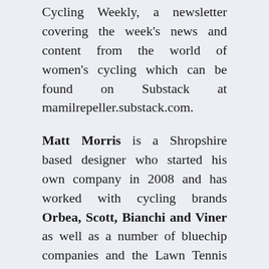Cycling Weekly, a newsletter covering the week's news and content from the world of women's cycling which can be found on Substack at mamilrepeller.substack.com.
Matt Morris is a Shropshire based designer who started his own company in 2008 and has worked with cycling brands Orbea, Scott, Bianchi and Viner as well as a number of bluechip companies and the Lawn Tennis Association. Like many, he was drawn to cycling by Channel Four's Tour coverage and currently enjoys thrashing his gravel bike around the lanes.